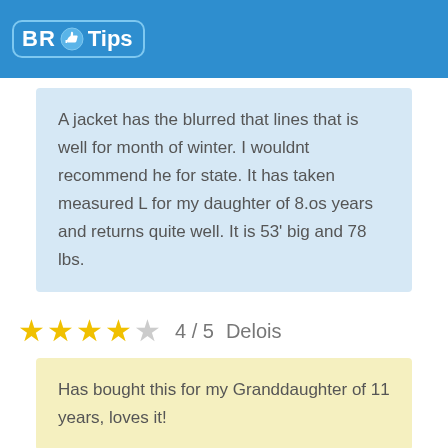[Figure (logo): BR Tips logo with thumbs up icon on blue background]
A jacket has the blurred that lines that is well for month of winter. I wouldnt recommend he for state. It has taken measured L for my daughter of 8.os years and returns quite well. It is 53' big and 78 lbs.
4 / 5  Delois
Has bought this for my Granddaughter of 11 years, loves it!